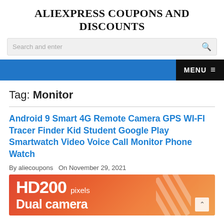ALIEXPRESS COUPONS AND DISCOUNTS
Search and enter
MENU
Tag: Monitor
Android 9 Smart 4G Remote Camera GPS WI-FI Tracer Finder Kid Student Google Play Smartwatch Video Voice Call Monitor Phone Watch
By aliecoupons   On November 29, 2021
[Figure (photo): Product advertisement banner with red-orange gradient background showing 'HD200 pixels' text and partial 'Dual camera' text in white]